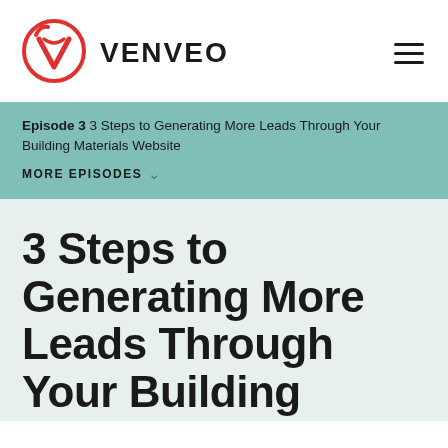[Figure (logo): Venveo logo: red circular emblem with a V shape inside, and bold text VENVEO to the right]
Episode 3 3 Steps to Generating More Leads Through Your Building Materials Website
MORE EPISODES ∨
3 Steps to Generating More Leads Through Your Building Materials Website